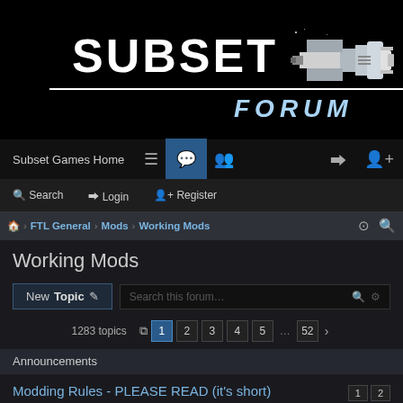[Figure (screenshot): Subset Games Forum banner with SUBSET title in large white bold pixel font, a white horizontal line, FORUM text in light blue italic, and a pixel art spaceship on the right, all on black background]
Subset Games Home | Navigation icons | Login | Register
Search | Login | Register
Board index > FTL General > Mods > Working Mods
Working Mods
New Topic | Search this forum...
1283 topics  1 2 3 4 5 ... 52 >
Announcements
Modding Rules - PLEASE READ (it's short)
Last post by therunawaybros615 « Sat Oct 06, 2012 12:29 pm
Replies: 15